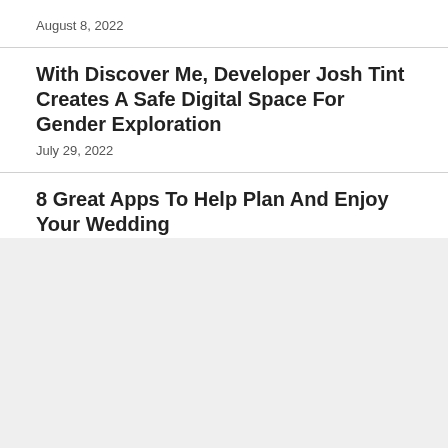August 8, 2022
With Discover Me, Developer Josh Tint Creates A Safe Digital Space For Gender Exploration
July 29, 2022
8 Great Apps To Help Plan And Enjoy Your Wedding
July 28, 2022
More Tech Most Popular